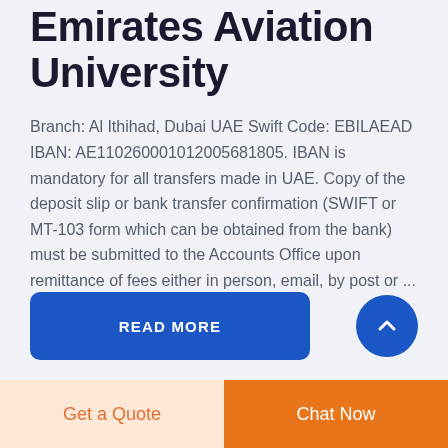Emirates Aviation University
Branch: Al Ithihad, Dubai UAE Swift Code: EBILAEAD IBAN: AE110260001012005681805. IBAN is mandatory for all transfers made in UAE. Copy of the deposit slip or bank transfer confirmation (SWIFT or MT-103 form which can be obtained from the bank) must be submitted to the Accounts Office upon remittance of fees either in person, email, by post or ...
READ MORE
Get a Quote
Chat Now